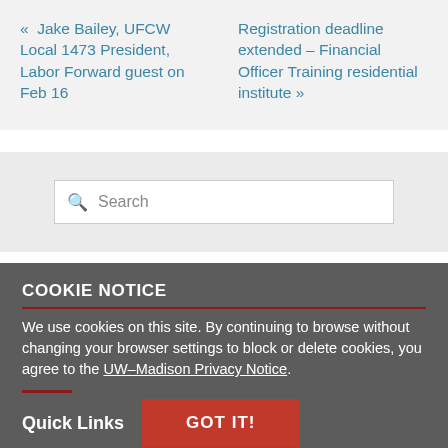« Jake Bailey, UFCW Local 1473 President, Labor Forward guest on Feb 16
Registration deadline extended – Financial Officer Training residential institute »
[Figure (other): Search input box with magnifying glass icon and placeholder text 'Search']
COOKIE NOTICE
We use cookies on this site. By continuing to browse without changing your browser settings to block or delete cookies, you agree to the UW–Madison Privacy Notice.
Quick Links
GOT IT!
About